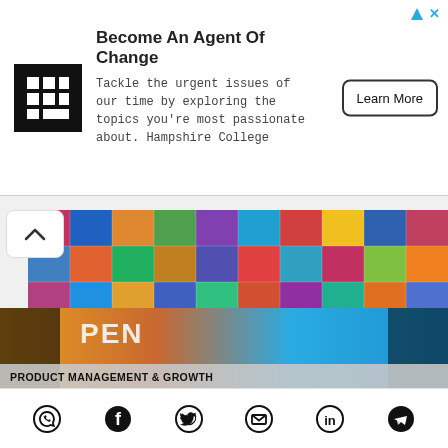[Figure (infographic): Advertisement banner: Hampshire College 'Become An Agent Of Change' ad with logo, body text, and Learn More button]
[Figure (photo): Colorful mosaic grid of NFT artwork images]
The future of subscription NFTs (and why you should care)
[Figure (photo): Article preview image with orange and blue background, text 'PENS' visible, labeled PRODUCT MANAGEMENT & GROWTH]
[Figure (infographic): Social share bar with WhatsApp, Facebook, Twitter, Email, LinkedIn, and Telegram icons]